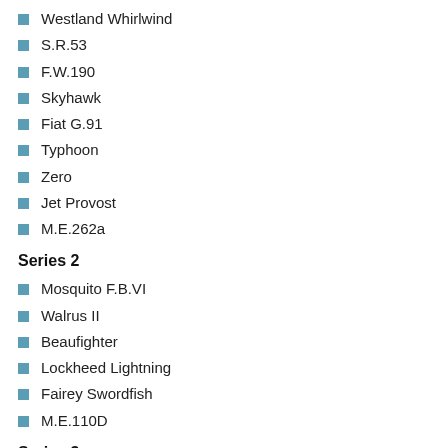Westland Whirlwind
S.R.53
F.W.190
Skyhawk
Fiat G.91
Typhoon
Zero
Jet Provost
M.E.262a
Series 2
Mosquito F.B.VI
Walrus II
Beaufighter
Lockheed Lightning
Fairey Swordfish
M.E.110D
Series 3
Blackburn NA39
D.H. Heron
Bristol 192
Dornier 217E